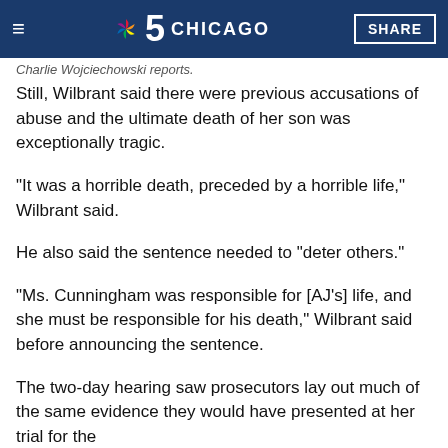≡  5 CHICAGO  SHARE
Charlie Wojciechowski reports.
Still, Wilbrant said there were previous accusations of abuse and the ultimate death of her son was exceptionally tragic.
"It was a horrible death, preceded by a horrible life," Wilbrant said.
He also said the sentence needed to "deter others."
"Ms. Cunningham was responsible for [AJ's] life, and she must be responsible for his death," Wilbrant said before announcing the sentence.
The two-day hearing saw prosecutors lay out much of the same evidence they would have presented at her trial for the